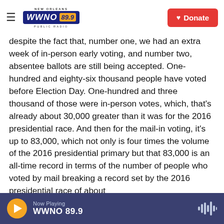NEW ORLEANS WWNO 89.9 PUBLIC RADIO | Donate
despite the fact that, number one, we had an extra week of in-person early voting, and number two, absentee ballots are still being accepted. One-hundred and eighty-six thousand people have voted before Election Day. One-hundred and three thousand of those were in-person votes, which, that's already about 30,000 greater than it was for the 2016 presidential race. And then for the mail-in voting, it's up to 83,000, which not only is four times the volume of the 2016 presidential primary but that 83,000 is an all-time record in terms of the number of people who voted by mail breaking a record set by the 2016 presidential race of about
Now Playing WWNO 89.9